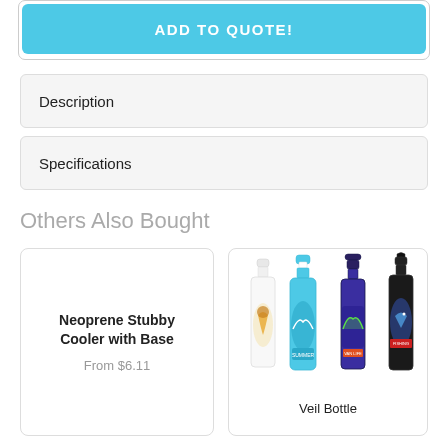ADD TO QUOTE!
Description
Specifications
Others Also Bought
Neoprene Stubby Cooler with Base
From $6.11
[Figure (photo): Four water bottles of different styles and colors (white, cyan, purple, black) with printed graphics including surfing, van life, and fishing tournament designs]
Veil Bottle